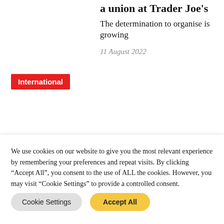a union at Trader Joe's
The determination to organise is growing
11 August 2022
International
We use cookies on our website to give you the most relevant experience by remembering your preferences and repeat visits. By clicking "Accept All", you consent to the use of ALL the cookies. However, you may visit "Cookie Settings" to provide a controlled consent.